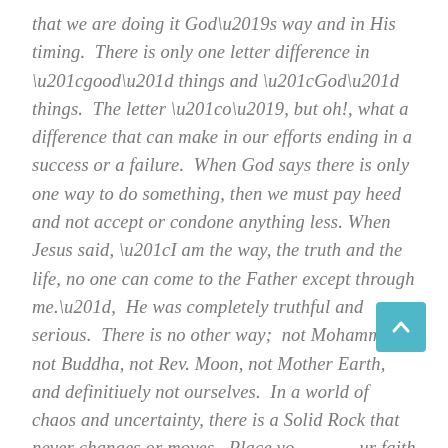that we are doing it God’s way and in His timing.  There is only one letter difference in “good” things and “God” things.  The letter “o’, but oh!, what a difference that can make in our efforts ending in a success or a failure.  When God says there is only one way to do something, then we must pay heed and not accept or condone anything less. When Jesus said, “I am the way, the truth and the life, no one can come to the Father except through me.”,  He was completely truthful and serious.  There is no other way;  not Mohammed, not Buddha, not Rev. Moon, not Mother Earth, and definitiuely not ourselves.  In a world of chaos and uncertainty, there is a Solid Rock that never changes or moves.  Place your faith in and your feet on that Solid Rock and refuse to be moved.  Don’t doubt, don’t dapple, don’t touch anything else.  He is the same God yesterday, today and He will